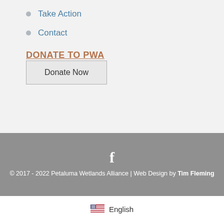Take Action
Contact
DONATE TO PWA
Donate Now
© 2017 - 2022 Petaluma Wetlands Alliance | Web Design by Tim Fleming
English